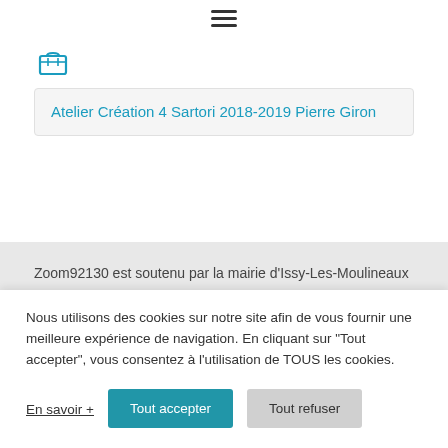[Figure (other): Hamburger menu icon (three horizontal lines) centered at top of page]
[Figure (other): Shopping basket/cart icon in teal/blue outline style]
Atelier Création 4 Sartori 2018-2019 Pierre Giron
Zoom92130 est soutenu par la mairie d'Issy-Les-Moulineaux
Nous utilisons des cookies sur notre site afin de vous fournir une meilleure expérience de navigation. En cliquant sur "Tout accepter", vous consentez à l'utilisation de TOUS les cookies.
En savoir +
Tout accepter
Tout refuser